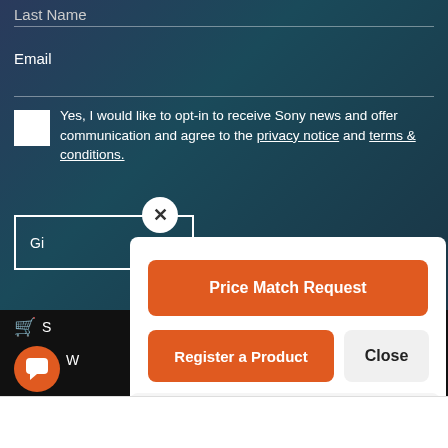Last Name
Email
Yes, I would like to opt-in to receive Sony news and offer communication and agree to the privacy notice and terms & conditions.
Gi... Me...
[Figure (screenshot): Popup overlay with Price Match Request and Register a Product orange buttons, and a Close button]
Price Match Request
Register a Product
Close
S...
W...
Write a message...
About Sony
Accept and Close ✕
Your browser settings do not allow cross-site tracking for advertising. Click on this page to allow AdRoll to use cross-site tracking to tailor ads to you. Learn more or opt out of this AdRoll tracking by clicking here. This message only appears once.